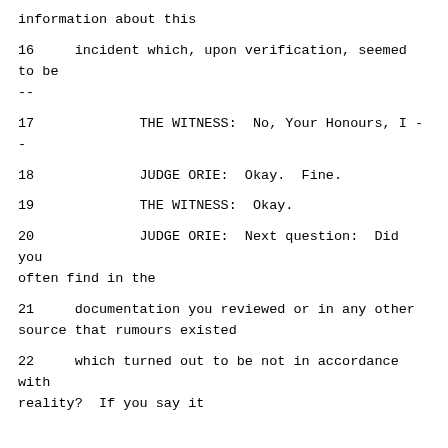information about this
16     incident which, upon verification, seemed to be --
17             THE WITNESS:  No, Your Honours, I --
18             JUDGE ORIE:  Okay.  Fine.
19             THE WITNESS:  Okay.
20             JUDGE ORIE:  Next question:  Did you often find in the
21     documentation you reviewed or in any other source that rumours existed
22     which turned out to be not in accordance with reality?  If you say it